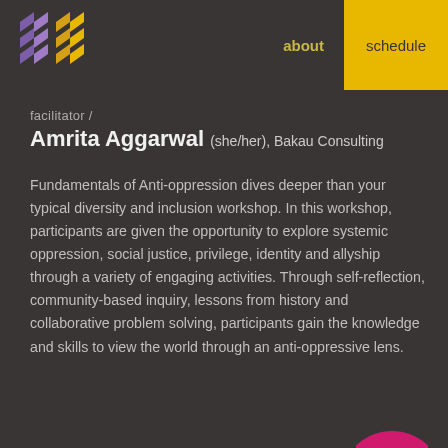[Figure (logo): Geometric logo with purple and yellow chevron/arrow shapes arranged in a cross pattern]
about  schedule
facilitator /
Amrita Aggarwal (she/her), Bakau Consulting
Fundamentals of Anti-oppression dives deeper than your typical diversity and inclusion workshop. In this workshop, participants are given the opportunity to explore systemic oppression, social justice, privilege, identity and allyship through a variety of engaging activities. Through self-reflection, community-based inquiry, lessons from history and collaborative problem solving, participants gain the knowledge and skills to view the world through an anti-oppressive lens.
[Figure (illustration): Partial pink/magenta circle button visible at bottom right corner]